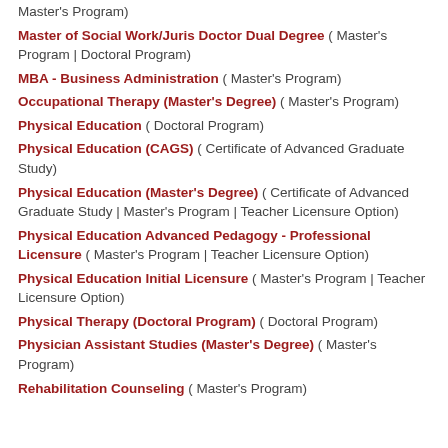Master's Program)
Master of Social Work/Juris Doctor Dual Degree ( Master's Program | Doctoral Program)
MBA - Business Administration ( Master's Program)
Occupational Therapy (Master's Degree) ( Master's Program)
Physical Education ( Doctoral Program)
Physical Education (CAGS) ( Certificate of Advanced Graduate Study)
Physical Education (Master's Degree) ( Certificate of Advanced Graduate Study | Master's Program | Teacher Licensure Option)
Physical Education Advanced Pedagogy - Professional Licensure ( Master's Program | Teacher Licensure Option)
Physical Education Initial Licensure ( Master's Program | Teacher Licensure Option)
Physical Therapy (Doctoral Program) ( Doctoral Program)
Physician Assistant Studies (Master's Degree) ( Master's Program)
Rehabilitation Counseling ( Master's Program)